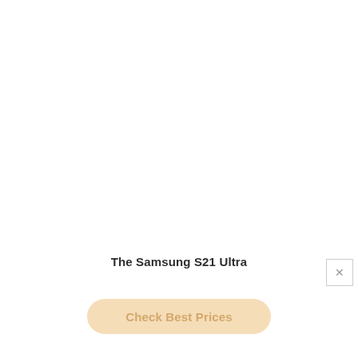The Samsung S21 Ultra
Check Best Prices